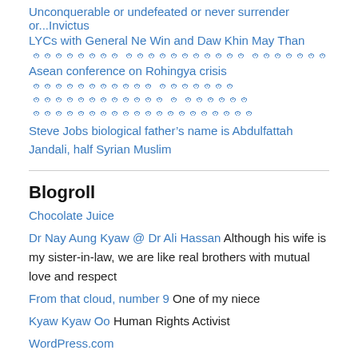Unconquerable or undefeated or never surrender or...Invictus
LYCs with General Ne Win and Daw Khin May Than
ၐၐၐၐၐၐၐၐ ၐၐၐၐၐၐၐၐၐၐၐ ၐၐၐၐၐၐၐ
Asean conference on Rohingya crisis
ၐၐၐၐၐၐၐၐၐၐၐ ၐၐၐၐၐၐၐ ၐၐၐၐၐၐၐၐၐၐၐၐ ၐ ၐၐၐၐၐၐ ၐၐၐၐၐၐၐၐၐၐၐၐၐၐၐၐၐၐၐၐ
Steve Jobs biological father’s name is Abdulfattah Jandali, half Syrian Muslim
Blogroll
Chocolate Juice
Dr Nay Aung Kyaw @ Dr Ali Hassan Although his wife is my sister-in-law, we are like real brothers with mutual love and respect
From that cloud, number 9 One of my niece
Kyaw Kyaw Oo Human Rights Activist
WordPress.com
WordPress.org